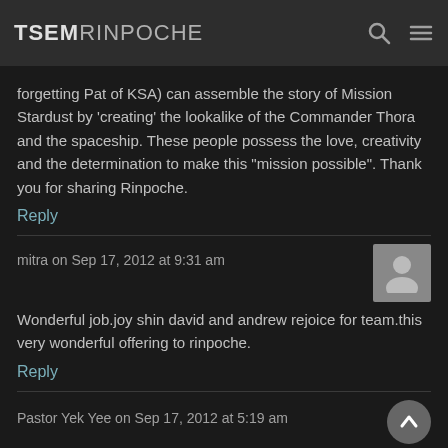TSEM RINPOCHE
forgetting Pat of KSA) can assemble the story of Mission Stardust by 'creating' the lookalike of the Commander Thora and the spaceship. These people possess the love, creativity and the determination to make this "mission possible". Thank you for sharing Rinpoche.
Reply
mitra on Sep 17, 2012 at 9:31 am
Wonderful job.joy shin david and andrew rejoice for team.this very wonderful offering to rinpoche.
Reply
Pastor Yek Yee on Sep 17, 2012 at 5:19 am